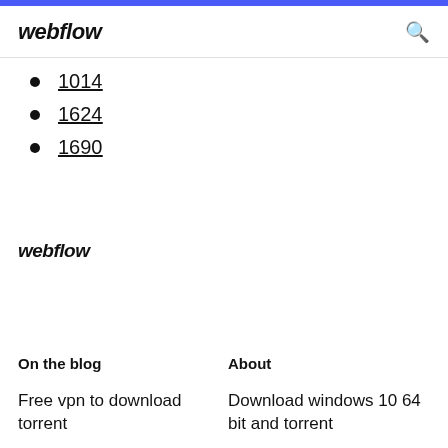webflow
1014
1624
1690
webflow
On the blog
About
Free vpn to download torrent
Download windows 10 64 bit and torrent